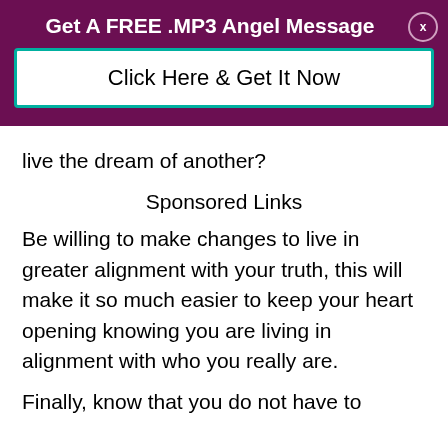Get A FREE .MP3 Angel Message
Click Here & Get It Now
live the dream of another?
Sponsored Links
Be willing to make changes to live in greater alignment with your truth, this will make it so much easier to keep your heart opening knowing you are living in alignment with who you really are.
Finally, know that you do not have to